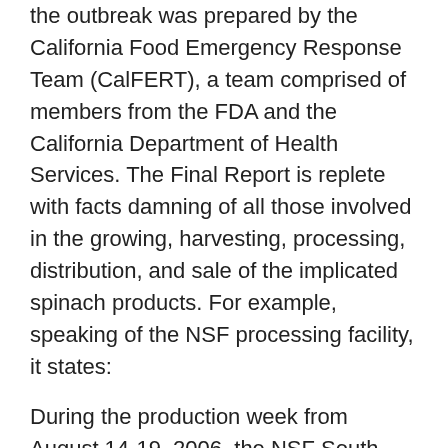the outbreak was prepared by the California Food Emergency Response Team (CalFERT), a team comprised of members from the FDA and the California Department of Health Services. The Final Report is replete with facts damning of all those involved in the growing, harvesting, processing, distribution, and sale of the implicated spinach products. For example, speaking of the NSF processing facility, it states:
During the production week from August 14-19, 2006, the NSF South facility had the highest weekly production volume of the month. Between August 13-20, 2006 production email exchanges revealed a string of personnel shortages, including nine absent employees on Sunday, August 13, the date of the weekly extended sanitation shift. Personnel records reveal that a number of absences were due to illness or illness in the family. NSF did not conduct ATP testing...